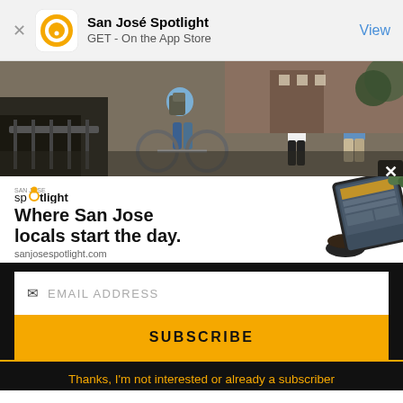San José Spotlight — GET - On the App Store — View
[Figure (photo): Street scene with people and bicycles, urban setting]
[Figure (logo): San Jose Spotlight advertisement with headline: Where San Jose locals start the day. sanjosespotlight.com]
EMAIL ADDRESS
SUBSCRIBE
Thanks, I'm not interested or already a subscriber